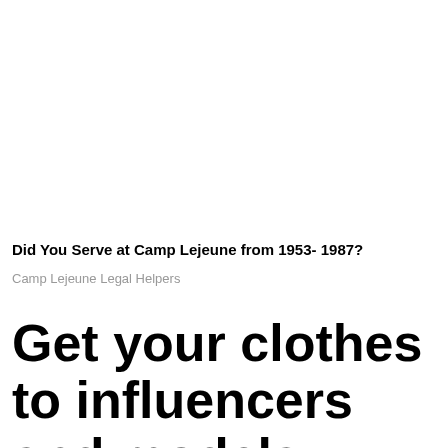Did You Serve at Camp Lejeune from 1953- 1987?
Camp Lejeune Legal Helpers
Get your clothes to influencers and models